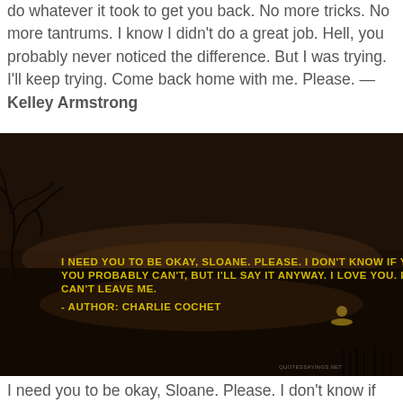do whatever it took to get you back. No more tricks. No more tantrums. I know I didn't do a great job. Hell, you probably never noticed the difference. But I was trying. I'll keep trying. Come back home with me. Please. — Kelley Armstrong
[Figure (photo): Dark nighttime landscape photo of water with bare tree branches visible against a dim sky. Yellow bold text overlay reads: 'I NEED YOU TO BE OKAY, SLOANE. PLEASE. I DON'T KNOW IF YOU CAN HEAR ME. YOU PROBABLY CAN'T, BUT I'LL SAY IT ANYWAY. I LOVE YOU. I LOVE YOU, AND YOU CAN'T LEAVE ME. - AUTHOR: CHARLIE COCHET'. Small watermark reads QUOTESSAYINGS.NET in bottom right corner.]
I need you to be okay, Sloane. Please. I don't know if